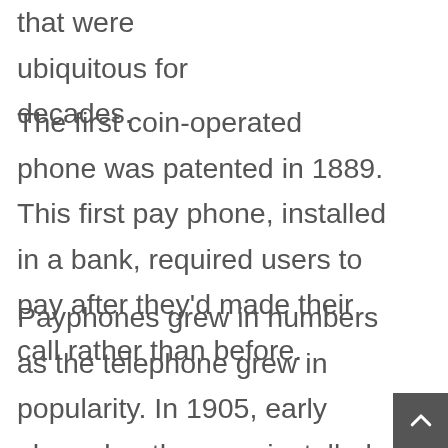that were ubiquitous for decades.
The first coin-operated phone was patented in 1889. This first pay phone, installed in a bank, required users to pay after they'd made their call rather than before.
Payphones grew in numbers as the telephone grew in popularity. In 1905, early phone booths were installed. Pay phones were a major way to